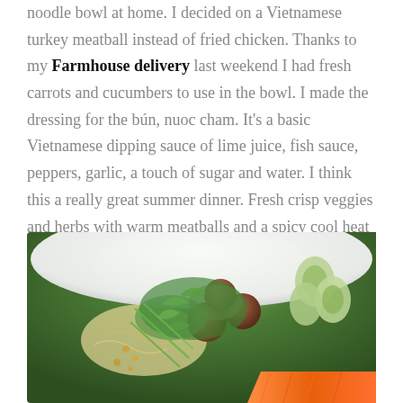noodle bowl at home. I decided on a Vietnamese turkey meatball instead of fried chicken. Thanks to my Farmhouse delivery last weekend I had fresh carrots and cucumbers to use in the bowl. I made the dressing for the bún, nuoc cham. It's a basic Vietnamese dipping sauce of lime juice, fish sauce, peppers, garlic, a touch of sugar and water. I think this a really great summer dinner. Fresh crisp veggies and herbs with warm meatballs and a spicy cool heat from the sauce.
[Figure (photo): A white bowl containing Vietnamese turkey meatballs with fresh herbs, cucumber slices, shredded carrots, noodles and green onions, photographed outdoors with a blurred green background.]